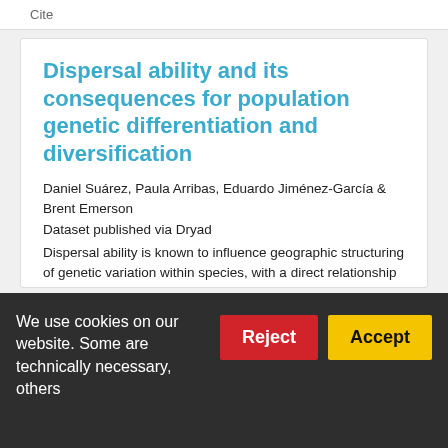Cite
Dispersal ability and its consequences for population genetic differentiation and diversification
Daniel Suárez, Paula Arribas, Eduardo Jiménez-García & Brent Emerson
Dataset published via Dryad
Dispersal ability is known to influence geographic structuring of genetic variation within species, with a direct relationship between low vagility and population genetic structure, which can potentially give rise to allopatric speciation. However, our general understanding of the relationship between dispersal ability, population
We use cookies on our website. Some are technically necessary, others help us improve...
Reject
Accept